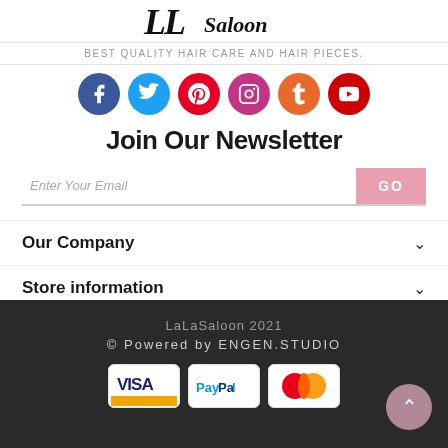[Figure (logo): LaLa Saloon handwritten logo with stylized L letters and cursive 'Saloon' text]
BEST quality Hair Care and Hair Pieces.
[Figure (infographic): Row of six social media icon circles: Facebook (blue), Twitter (cyan), Pinterest (red), Instagram (pink/magenta), Tumblr (orange), YouTube (red)]
Join Our Newsletter
[Figure (other): Email signup form with 'Enter Your Email' placeholder and pink GO button]
Our Company
Store information
LaLaSaloon 2021
© Powered by ENGEN.STUDIO
[Figure (other): Payment method logos: VISA, PayPal, MasterCard]